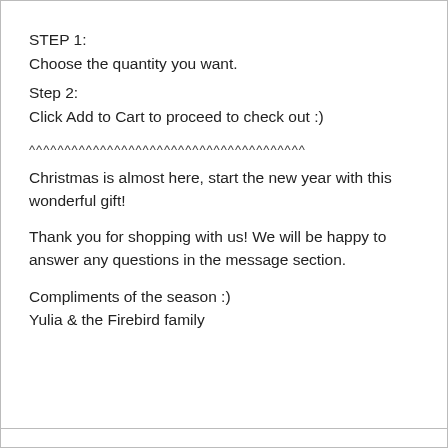STEP 1:
Choose the quantity you want.
Step 2:
Click Add to Cart to proceed to check out :)
^^^^^^^^^^^^^^^^^^^^^^^^^^^^^^^^^^^^^^^
Christmas is almost here, start the new year with this wonderful gift!
Thank you for shopping with us! We will be happy to answer any questions in the message section.
Compliments of the season :)
Yulia & the Firebird family